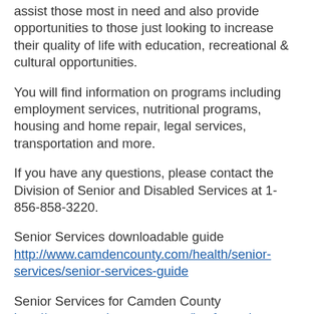assist those most in need and also provide opportunities to those just looking to increase their quality of life with education, recreational & cultural opportunities.
You will find information on programs including employment services, nutritional programs, housing and home repair, legal services, transportation and more.
If you have any questions, please contact the Division of Senior and Disabled Services at 1-856-858-3220.
Senior Services downloadable guide
http://www.camdencounty.com/health/senior-services/senior-services-guide
Senior Services for Camden County
http://www.camdencounty.com/justforseniors